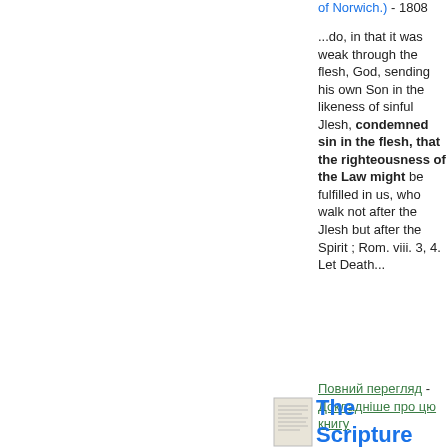of Norwich.) - 1808
...do, in that it was weak through the flesh, God, sending his own Son in the likeness of sinful Jlesh, condemned sin in the flesh, that the righteousness of the Law might be fulfilled in us, who walk not after the Jlesh but after the Spirit ; Rom. viii. 3, 4. Let Death...
Повний перегляд - Докладніше про цю книгу
[Figure (illustration): Small book thumbnail/icon image]
The Scripture Doctrine of...